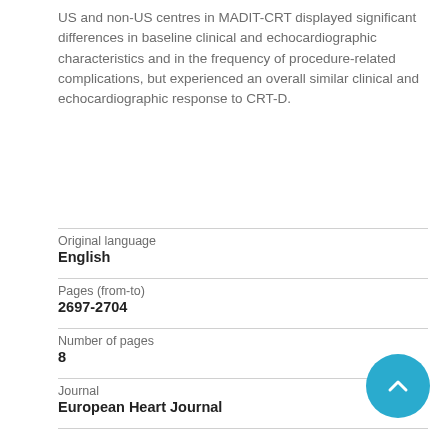US and non-US centres in MADIT-CRT displayed significant differences in baseline clinical and echocardiographic characteristics and in the frequency of procedure-related complications, but experienced an overall similar clinical and echocardiographic response to CRT-D.
| Field | Value |
| --- | --- |
| Original language | English |
| Pages (from-to) | 2697-2704 |
| Number of pages | 8 |
| Journal | European Heart Journal |
| Volume | 32 |
| Issue number |  |